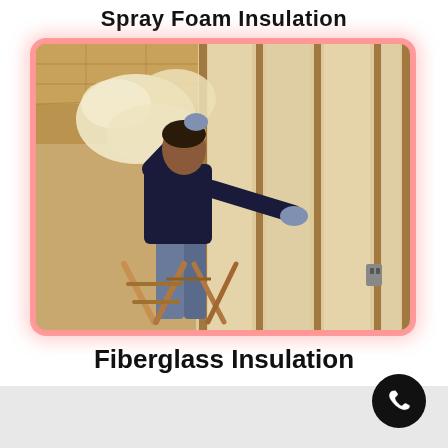Spray Foam Insulation
[Figure (photo): A worker standing on a wooden ladder installing fiberglass insulation batts into wall studs inside a building under construction. The worker wears a dark blue sweater and gloves, reaching up to place insulation material between wooden framing.]
Fiberglass Insulation
[Figure (other): Phone/call button icon — black circle with a white telephone handset icon, positioned at bottom right over a light gray footer bar.]